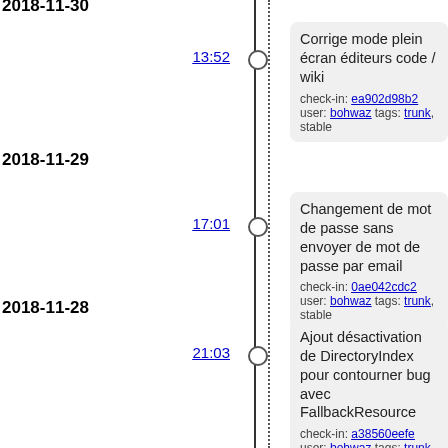2018-11-30
13:52
Corrige mode plein écran éditeurs code / wiki
check-in: ea902d98b2 user: bohwaz tags: trunk, stable
2018-11-29
17:01
Changement de mot de passe sans envoyer de mot de passe par email
check-in: 0ae042cdc2 user: bohwaz tags: trunk, stable
2018-11-28
21:03
Ajout désactivation de DirectoryIndex pour contourner bug avec FallbackResource
check-in: a38560eefe user: bohwaz tags: trunk, stable
21:02
Correctif recherche avancée
check-in: bfe170eb47 user: bohwaz tags: trunk, stable
16:36
Corrige élément sélectionné dans les champs membres de type <select>